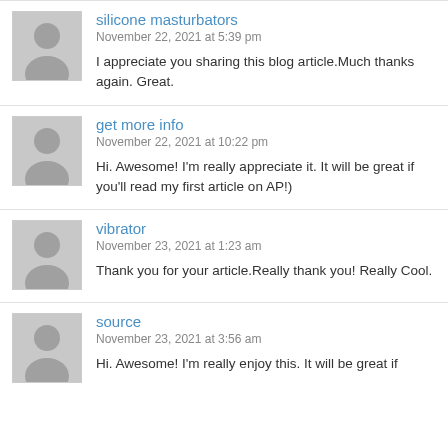silicone masturbators
November 22, 2021 at 5:39 pm
I appreciate you sharing this blog article.Much thanks again. Great.
get more info
November 22, 2021 at 10:22 pm
Hi. Awesome! I'm really appreciate it. It will be great if you'll read my first article on AP!)
vibrator
November 23, 2021 at 1:23 am
Thank you for your article.Really thank you! Really Cool.
source
November 23, 2021 at 3:56 am
Hi. Awesome! I'm really enjoy this. It will be great if